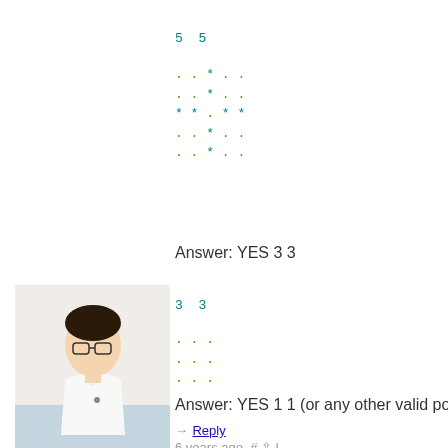[Figure (photo): Profile photo of user trunghai95 - a young man wearing glasses and white shirt]
trunghai95
5  5
. . * . .
. . * . .
* * . * *
. . * . .
. . * . .
Answer: YES 3 3
3  3
. . .
. . .
. . .
Answer: YES 1 1 (or any other valid po
→ Reply
6 years ago,  #  ↑  |